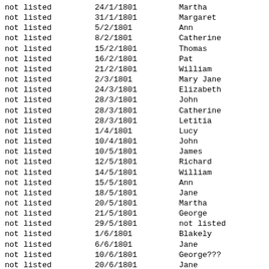| Column1 | Date | Name |
| --- | --- | --- |
| not listed | 24/1/1801 | Martha |
| not listed | 31/1/1801 | Margaret |
| not listed | 5/2/1801 | Ann |
| not listed | 8/2/1801 | Catherine |
| not listed | 15/2/1801 | Thomas |
| not listed | 16/2/1801 | Pat |
| not listed | 21/2/1801 | William |
| not listed | 2/3/1801 | Mary Jane |
| not listed | 24/3/1801 | Elizabeth |
| not listed | 28/3/1801 | John |
| not listed | 28/3/1801 | Catherine |
| not listed | 28/3/1801 | Letitia |
| not listed | 1/4/1801 | Lucy |
| not listed | 10/4/1801 | John |
| not listed | 10/5/1801 | James |
| not listed | 12/5/1801 | Richard |
| not listed | 14/5/1801 | William |
| not listed | 15/5/1801 | Ann |
| not listed | 18/5/1801 | Jane |
| not listed | 20/5/1801 | Martha |
| not listed | 21/5/1801 | George |
| not listed | 29/5/1801 | not listed |
| not listed | 1/6/1801 | Blakely |
| not listed | 6/6/1801 | Jane |
| not listed | 10/6/1801 | George??? |
| not listed | 20/6/1801 | Jane |
| not listed | 28/6/1801 | Catherine |
| not listed | 11/7/1801 | Margaret |
| not listed | 11/7/1801 | William |
| not listed | 31/7/1801 | Mathew |